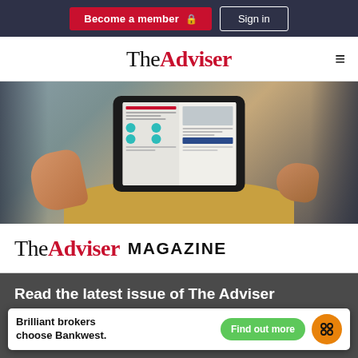Become a member  Sign in
TheAdviser
[Figure (photo): Person holding a tablet displaying The Adviser magazine digital edition, seated in a yellow chair, wearing a dark suit]
TheAdviser MAGAZINE
Read the latest issue of The Adviser magazine
The Adviser is the number one magazine for Australia's
[Figure (infographic): Bankwest advertisement banner: 'Brilliant brokers choose Bankwest.' with green 'Find out more' button and Bankwest orange logo]